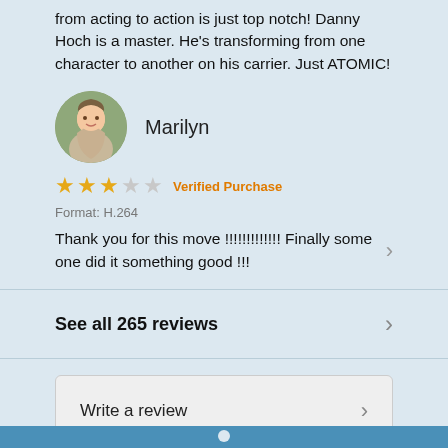from acting to action is just top notch! Danny Hoch is a master. He's transforming from one character to another on his carrier. Just ATOMIC!
Marilyn
★★★☆☆ Verified Purchase
Format: H.264
Thank you for this move !!!!!!!!!!!!! Finally some one did it something good !!!
See all 265 reviews
Write a review